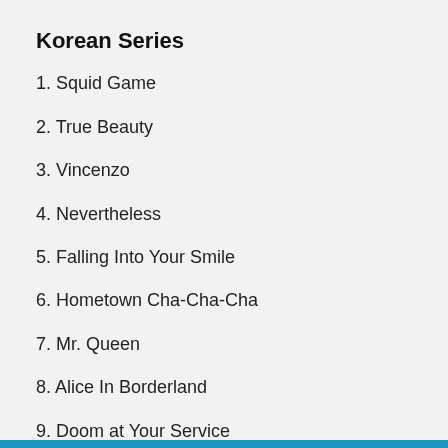Korean Series
1. Squid Game
2. True Beauty
3. Vincenzo
4. Nevertheless
5. Falling Into Your Smile
6. Hometown Cha-Cha-Cha
7. Mr. Queen
8. Alice In Borderland
9. Doom at Your Service